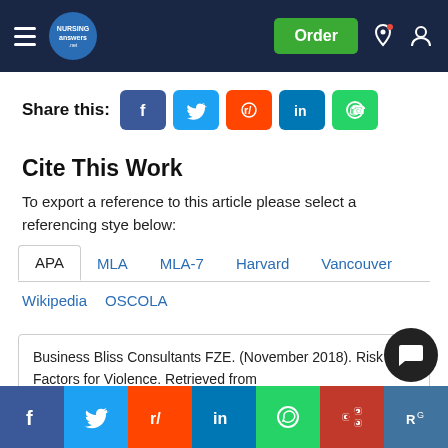Nursing Answers - [Nav bar with hamburger menu, logo, Order button, bell and user icons]
Share this:
[Figure (infographic): Social share buttons: Facebook, Twitter, Reddit, LinkedIn, WhatsApp]
Cite This Work
To export a reference to this article please select a referencing stye below:
APA  MLA  MLA-7  Harvard  Vancouver  Wikipedia  OSCOLA
Business Bliss Consultants FZE. (November 2018). Risk Factors for Violence. Retrieved from https://nu...g...e...s...c...for-...
[Figure (infographic): Bottom floating social share bar: Facebook, Twitter, Reddit, LinkedIn, WhatsApp, Mendeley, ResearchGate]